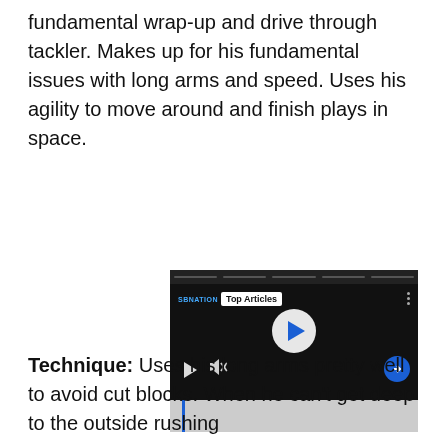fundamental wrap-up and drive through tackler. Makes up for his fundamental issues with long arms and speed. Uses his agility to move around and finish plays in space.
[Figure (screenshot): Video player screenshot showing a man in a white sleeveless shirt against a dark background. A white circular play button is centered. A 'Top Articles' label is shown in the top-left area. A blue circular arrow button is on the right. Video controls and a progress bar are visible at the bottom.]
Technique: Uses his long arms pretty well to avoid cut blocks. When he can't get deep to the outside rushing